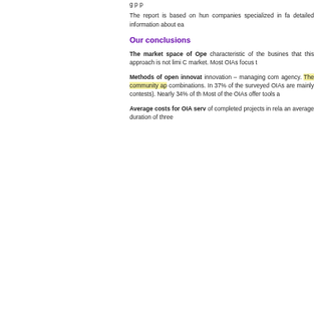The report is based on hun companies specialized in fa detailed information about ea
Our conclusions
The market space of Ope characteristic of the busines that this approach is not limi C market. Most OIAs focus t
Methods of open innovat innovation – managing com agency. The community ap combinations. In 37% of the surveyed OIAs are mainly contests). Nearly 34% of th Most of the OIAs offer tools a
Average costs for OIA serv of completed projects in rela an average duration of three